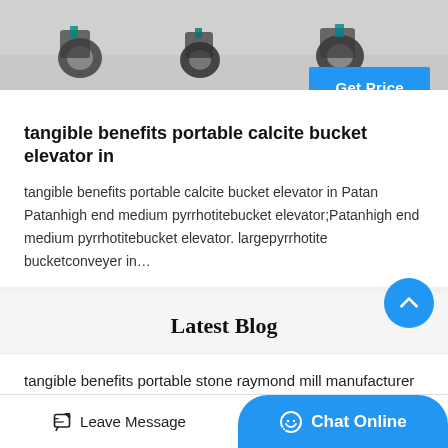[Figure (photo): Top portion of a product photo showing industrial equipment/conveyor parts on a grey floor background]
Get Price
tangible benefits portable calcite bucket elevator in
tangible benefits portable calcite bucket elevator in Patan Patanhigh end medium pyrrhotitebucket elevator;Patanhigh end medium pyrrhotitebucket elevator. largepyrrhotite bucketconveyer in…
Latest Blog
tangible benefits portable stone raymond mill manufacturer in Azoppo
Leave Message
Chat Online